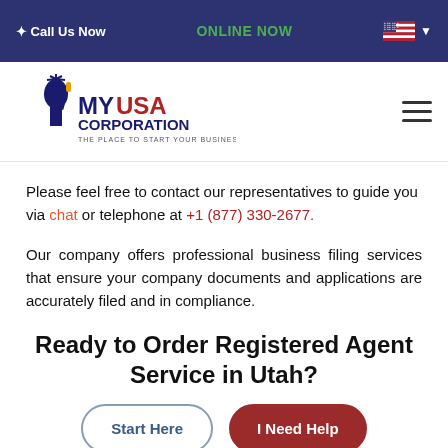Call Us Now   ONLINE NOW
[Figure (logo): MyUSACorporation logo with Statue of Liberty icon and tagline 'THE PLACE TO START YOUR BUSINESS']
Please feel free to contact our representatives to guide you via chat or telephone at +1 (877) 330-2677.
Our company offers professional business filing services that ensure your company documents and applications are accurately filed and in compliance.
Ready to Order Registered Agent Service in Utah?
Start Here   I Need Help